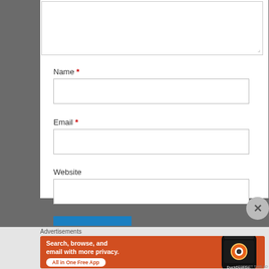[Figure (screenshot): Web form comment textarea at the top, partially visible, white background with light gray border and resize handle in bottom right corner]
Name *
[Figure (screenshot): Empty text input field for Name]
Email *
[Figure (screenshot): Empty text input field for Email]
Website
[Figure (screenshot): Empty text input field for Website]
[Figure (screenshot): Blue submit button partially visible at bottom of form]
Advertisements
[Figure (illustration): DuckDuckGo advertisement banner with orange background. Text reads: Search, browse, and email with more privacy. All in One Free App. Shows a smartphone with DuckDuckGo logo on the right side.]